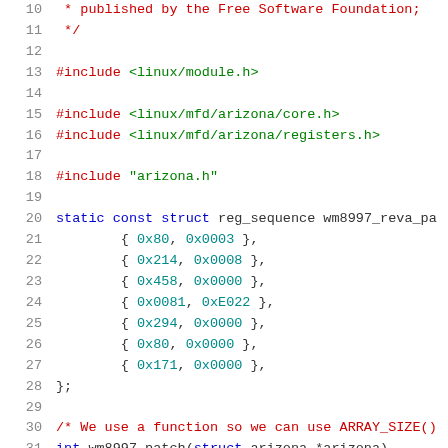Source code listing lines 10-31, C language kernel module
10:  * published by the Free Software Foundation;
11:   */
12:  (blank)
13:  #include <linux/module.h>
14:  (blank)
15:  #include <linux/mfd/arizona/core.h>
16:  #include <linux/mfd/arizona/registers.h>
17:  (blank)
18:  #include "arizona.h"
19:  (blank)
20:  static const struct reg_sequence wm8997_reva_pa
21:          { 0x80, 0x0003 },
22:          { 0x214, 0x0008 },
23:          { 0x458, 0x0000 },
24:          { 0x0081, 0xE022 },
25:          { 0x294, 0x0000 },
26:          { 0x80, 0x0000 },
27:          { 0x171, 0x0000 },
28:  };
29:  (blank)
30:  /* We use a function so we can use ARRAY_SIZE()
31:  int wm8997_patch(struct arizona *arizona)